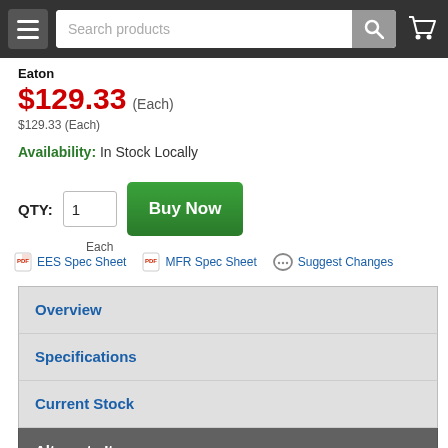Search products
Eaton
$129.33 (Each)
$129.33 (Each)
Availability: In Stock Locally
QTY: 1  Buy Now  Each
EES Spec Sheet
MFR Spec Sheet
Suggest Changes
Overview
Specifications
Current Stock
Alternate Items